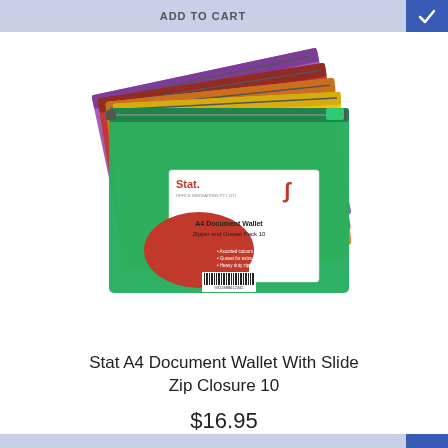ADD TO CART
[Figure (photo): Stack of Stat A4 document wallets with slide zip closures in multiple colors (purple, red, orange, yellow, green), with product label showing 'Stat. A4 Document Wallet Zipper and Gusset Pack 10' with barcode]
Stat A4 Document Wallet With Slide Zip Closure 10
$16.95